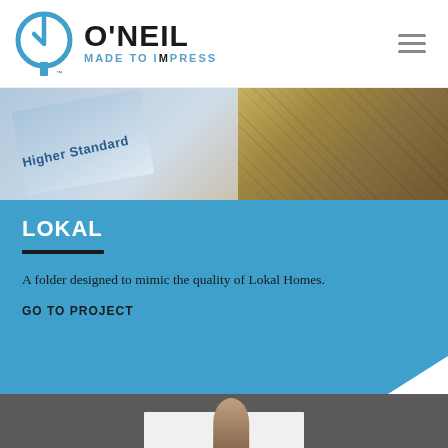[Figure (logo): O'Neil 'Made to Impress' logo with circular arrow graphic mark and hamburger menu icon]
[Figure (photo): Top banner photo showing a blue card/folder with 'Higher Standard' text and stone/wood material samples]
LOKAL
A folder designed to mimic the quality of Lokal Homes.
GO TO PROJECT
[Figure (photo): Bottom partial photo showing a white brochure/book with a person visible against a grey background]